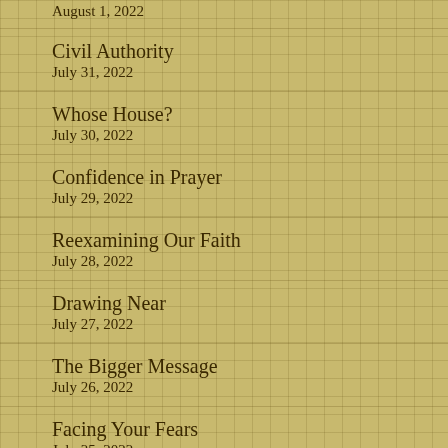August 1, 2022
Civil Authority
July 31, 2022
Whose House?
July 30, 2022
Confidence in Prayer
July 29, 2022
Reexamining Our Faith
July 28, 2022
Drawing Near
July 27, 2022
The Bigger Message
July 26, 2022
Facing Your Fears
July 25, 2022
The Alternate Reality
July 24, 2022